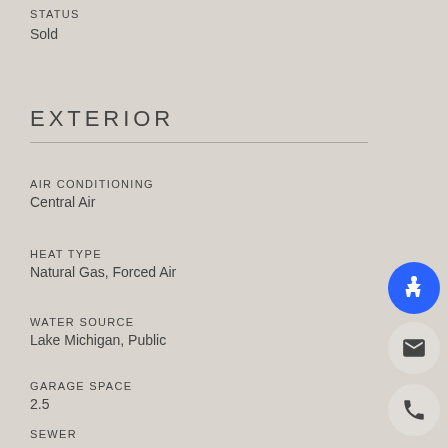STATUS
Sold
EXTERIOR
AIR CONDITIONING
Central Air
HEAT TYPE
Natural Gas, Forced Air
WATER SOURCE
Lake Michigan, Public
GARAGE SPACE
2.5
SEWER
Public S...